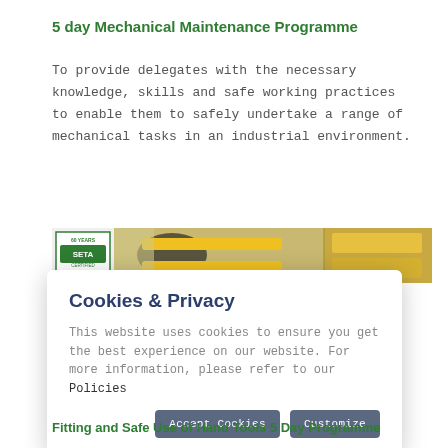5 day Mechanical Maintenance Programme
To provide delegates with the necessary knowledge, skills and safe working practices to enable them to safely undertake a range of mechanical tasks in an industrial environment.
[Figure (photo): Photo strip showing mechanical tools including yellow-handled tools, with SETA badge/logo on the left side.]
Cookies & Privacy
This website uses cookies to ensure you get the best experience on our website. For more information, please refer to our Policies
Fitting and Safe Use of Hand Tools 5 Day Programme